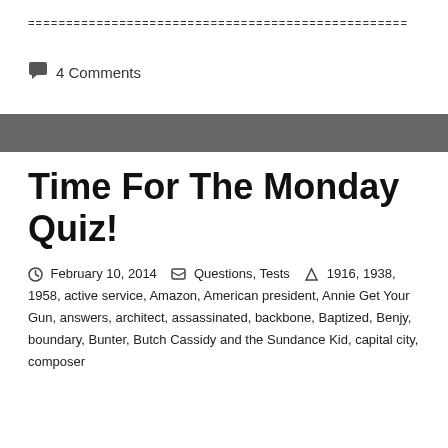==================================================
4 Comments
Time For The Monday Quiz!
February 10, 2014  Questions, Tests  1916, 1938, 1958, active service, Amazon, American president, Annie Get Your Gun, answers, architect, assassinated, backbone, Baptized, Benjy, boundary, Bunter, Butch Cassidy and the Sundance Kid, capital city, composer